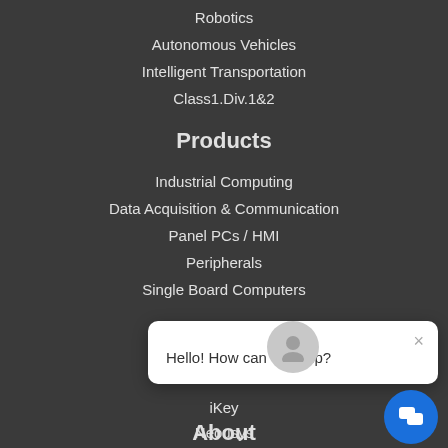Robotics
Autonomous Vehicles
Intelligent Transportation
Class1.Div.1&2
Products
Industrial Computing
Data Acquisition & Communication
Panel PCs / HMI
Peripherals
Single Board Computers
[Figure (screenshot): Chat popup widget with avatar icon, close button (×), and message 'Hello! How can we help?' with a blue circular chat button in the bottom right]
iKey
Neousys
About